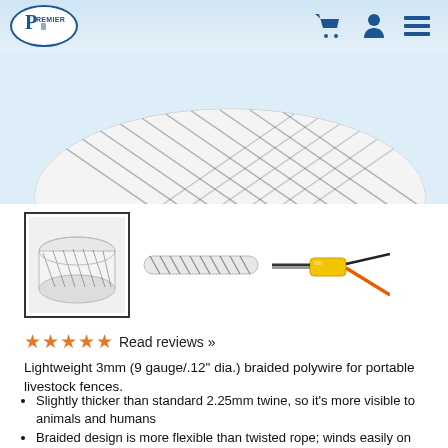[Figure (logo): Premier 1 Supplies logo — oval with stylized P and text PREMIER]
[Figure (photo): Main product photo: large spool/reel of white braided polywire with black conductor strands, viewed from above on light blue background]
[Figure (photo): Thumbnail gallery: (1) spool of white braided polywire (selected, with border), (2) close-up of braided polywire strand, (3) close-up of connector/splice with yellow and orange cables]
★★★★★ Read reviews »
Lightweight 3mm (9 gauge/.12" dia.) braided polywire for portable livestock fences.
Slightly thicker than standard 2.25mm twine, so it's more visible to animals and humans
Braided design is more flexible than twisted rope; winds easily on reels
Tinned copper filaments for maximum conductivity